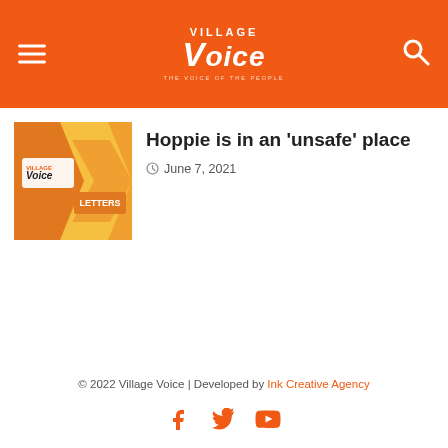Village Voice
[Figure (illustration): Village Voice Letters thumbnail image with orange and yellow arrow shapes and the Village Voice logo]
Hoppie is in an 'unsafe' place
June 7, 2021
© 2022 Village Voice | Developed by Ink Creative Agency